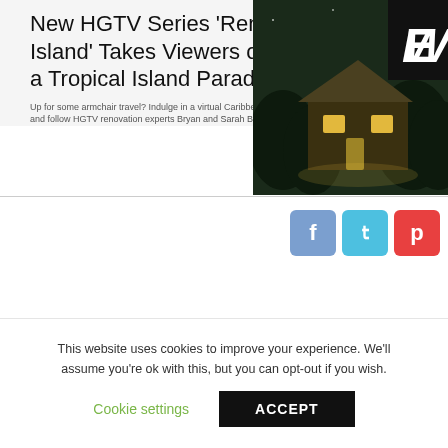New HGTV Series 'Renovation Island' Takes Viewers on a Trip to a Tropical Island Paradise
Up for some armchair travel? Indulge in a virtual Caribbean adventure and follow HGTV renovation experts Bryan and Sarah Baeumler as they
[Figure (photo): Tropical island resort building at night with lights, surrounded by trees. EW logo overlay in top right corner.]
Renovation Island Website (August) Let Us Talk About It! >> This article sheds light on the renovation project of an island resort situated in the Bahamas.
Have you done with armchair travel? Then, let us get into the virtual Caribbean adventure and following the Canadian renovation professionals of HGTV, Bryan, and Sarah Baeumler. Both of them are specialists in
This website uses cookies to improve your experience. We'll assume you're ok with this, but you can opt-out if you wish.